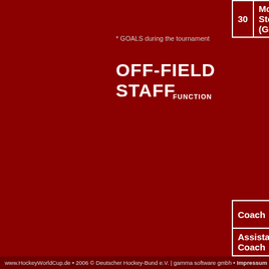|  |  |
| --- | --- |
| 30 | Mowlam, Stephen (GK) |
* GOALS during the tournament
OFF-FIELD STAFF
| FUNCTION |  |
| --- | --- |
| Coach | Dancer, Barry |
| Assistant Coach | Batch, Colin |
| Team Manager | Birse, Peter |
| Team Manager | McDonald, And... |
| Team Doctor | Steele, Peter |
| Physio | Stokes, Mark |
www.HockeyWorldCup.de • 2006 © Deutscher Hockey-Bund e.V. | gamma software gmbh • Impressum • 19.0...